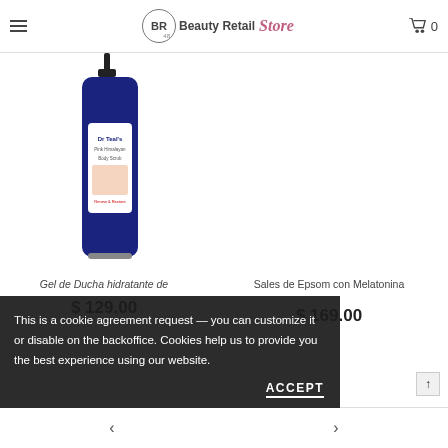Beauty Retail Store — navigation header with hamburger menu and cart icon (0)
[Figure (photo): Dr Teal's Pink Himalayan Body Scrub bottle with pump dispenser]
Gel de Ducha hidratante de
$ 129.00
[Figure (photo): Dr Teal's Pure Epsom Salt Melatonin Sleep Soak package in purple packaging]
Sales de Epsom con Melatonina
$ 169.00
This is a cookie agreement request — you can customize it or disable on the backoffice. Cookies help us to provide you the best experience using our website.
ACCEPT